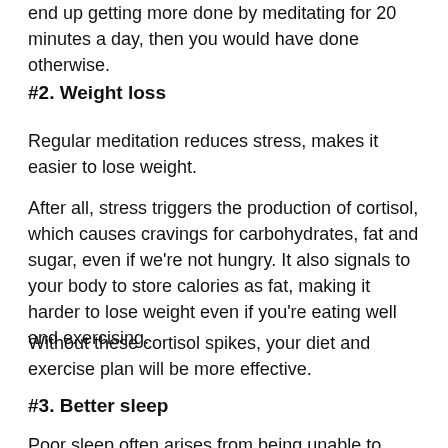end up getting more done by meditating for 20 minutes a day, then you would have done otherwise.
#2. Weight loss
Regular meditation reduces stress, makes it easier to lose weight.
After all, stress triggers the production of cortisol, which causes cravings for carbohydrates, fat and sugar, even if we're not hungry. It also signals to your body to store calories as fat, making it harder to lose weight even if you're eating well and exercising.
Without these cortisol spikes, your diet and exercise plan will be more effective.
#3. Better sleep
Poor sleep often arises from being unable to shut your